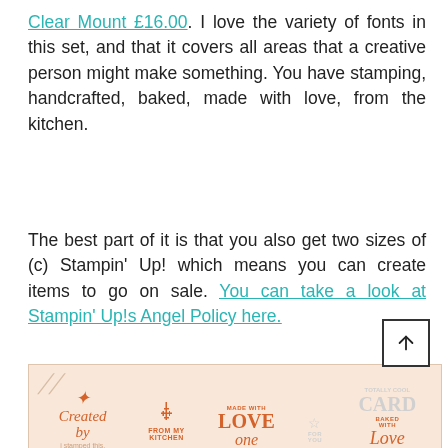Clear Mount £16.00. I love the variety of fonts in this set, and that it covers all areas that a creative person might make something. You have stamping, handcrafted, baked, made with love, from the kitchen.
The best part of it is that you also get two sizes of (c) Stampin' Up! which means you can create items to go on sale. You can take a look at Stampin' Up!s Angel Policy here.
[Figure (photo): A stamp set image on a peach/cream background showing various stamps including 'Created by', 'From My Kitchen' with utensil icons, 'Made With LOVE', 'For You' star, 'Totally Cool CARD', 'i stamped this.', 'one', and 'Baked With Love' in orange and grey.]